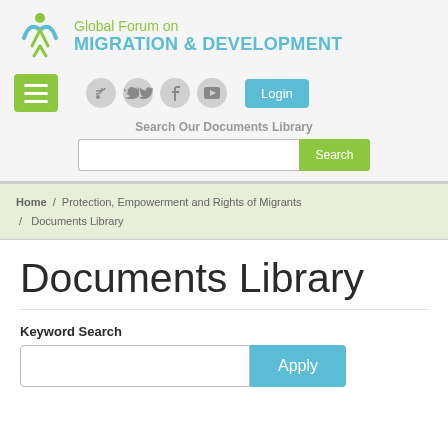[Figure (logo): Global Forum on Migration & Development logo with human figure icon and text]
[Figure (screenshot): Navigation bar with hamburger menu, social media icons (RSS, Twitter, Facebook, YouTube), and Login button]
Search Our Documents Library
Home / Protection, Empowerment and Rights of Migrants / Documents Library
Documents Library
Keyword Search